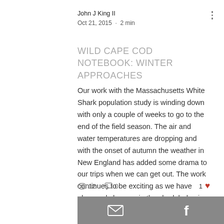John J King II
Oct 21, 2015 · 2 min
Wild Cape Cod Notebook: Winter Approaches
Our work with the Massachusetts White Shark population study is winding down with only a couple of weeks to go to the end of the field season. The air and water temperatures are dropping and with the onset of autumn the weather in New England has added some drama to our trips when we can get out. The work continues to be exciting as we have observed changes in the shark behavior and especially in the size of the sharks that are in the area. Larger sharks, both male and female
12 views · 0 comments · 1 like